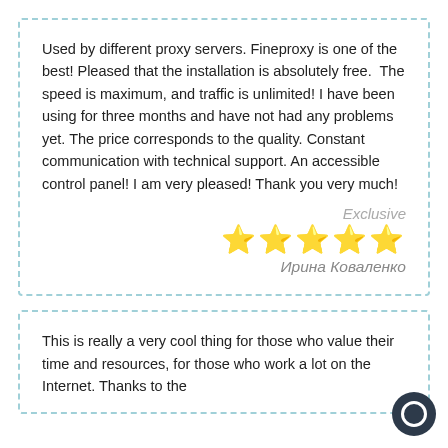Used by different proxy servers. Fineproxy is one of the best! Pleased that the installation is absolutely free.  The speed is maximum, and traffic is unlimited! I have been using for three months and have not had any problems yet. The price corresponds to the quality. Constant communication with technical support. An accessible control panel! I am very pleased! Thank you very much!
Exclusive
[Figure (other): Five gold star rating]
Ирина Коваленко
This is really a very cool thing for those who value their time and resources, for those who work a lot on the Internet. Thanks to the